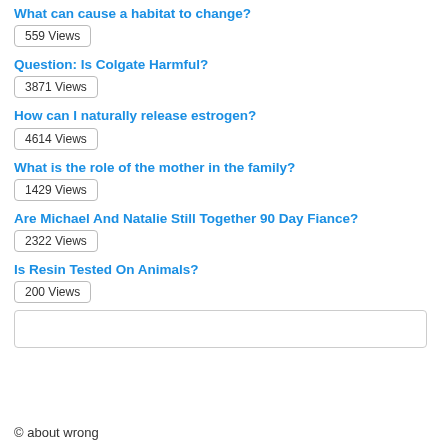What can cause a habitat to change?
559 Views
Question: Is Colgate Harmful?
3871 Views
How can I naturally release estrogen?
4614 Views
What is the role of the mother in the family?
1429 Views
Are Michael And Natalie Still Together 90 Day Fiance?
2322 Views
Is Resin Tested On Animals?
200 Views
© about wrong